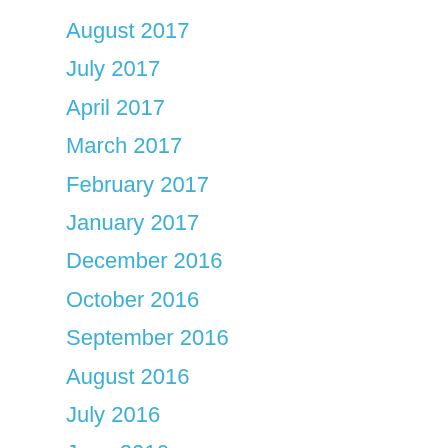August 2017
July 2017
April 2017
March 2017
February 2017
January 2017
December 2016
October 2016
September 2016
August 2016
July 2016
June 2016
May 2016